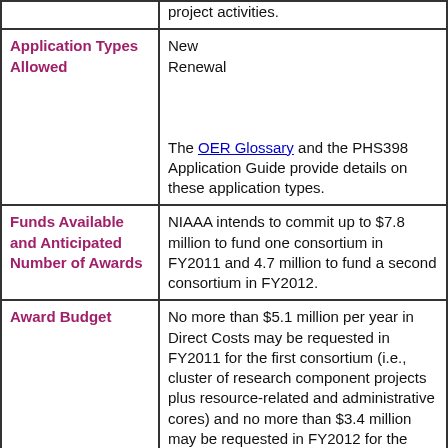| Category | Details |
| --- | --- |
|  | project activities. |
| Application Types Allowed | New
Renewal

The OER Glossary and the PHS398 Application Guide provide details on these application types. |
| Funds Available and Anticipated Number of Awards | NIAAA intends to commit up to $7.8 million to fund one consortium in FY2011 and 4.7 million to fund a second consortium in FY2012. |
| Award Budget | No more than $5.1 million per year in Direct Costs may be requested in FY2011 for the first consortium (i.e., cluster of research component projects plus resource-related and administrative cores) and no more than $3.4 million may be requested in FY2012 for the second consortium.. |
| Award Project Period | The total project period for an application submitted in response to this funding opportunity may not exceed five |